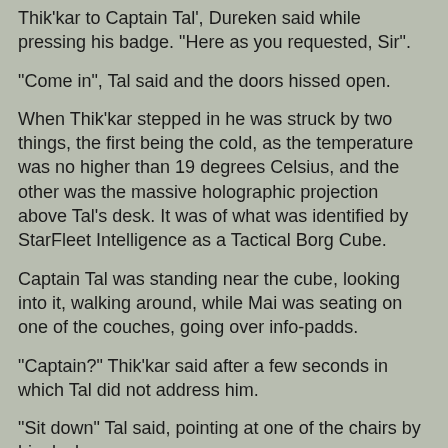Thik'kar to Captain Tal', Dureken said while pressing his badge. "Here as you requested, Sir".
"Come in", Tal said and the doors hissed open.
When Thik'kar stepped in he was struck by two things, the first being the cold, as the temperature was no higher than 19 degrees Celsius, and the other was the massive holographic projection above Tal's desk. It was of what was identified by StarFleet Intelligence as a Tactical Borg Cube.
Captain Tal was standing near the cube, looking into it, walking around, while Mai was seating on one of the couches, going over info-padds.
"Captain?" Thik'kar said after a few seconds in which Tal did not address him.
"Sit down" Tal said, pointing at one of the chairs by his desk.
"I can't see any other solution, Captain", Mai said after Thk'kar was seated. He got up and walked to stand near Tal, only than noticing the Anodrian. "Oh, hey Dureken, didn't see you there".